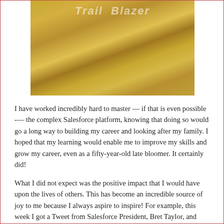[Figure (photo): Person wearing a shiny gold jacket, pointing fingers toward their chest. A script/cursive text watermark or logo is visible on the jacket.]
I have worked incredibly hard to master — if that is even possible -— the complex Salesforce platform, knowing that doing so would go a long way to building my career and looking after my family. I hoped that my learning would enable me to improve my skills and grow my career, even as a fifty-year-old late bloomer. It certainly did!
What I did not expect was the positive impact that I would have upon the lives of others. This has become an incredible source of joy to me because I always aspire to inspire! For example, this week I got a Tweet from Salesforce President, Bret Taylor, and what he told me TOTALLY blew my mind: